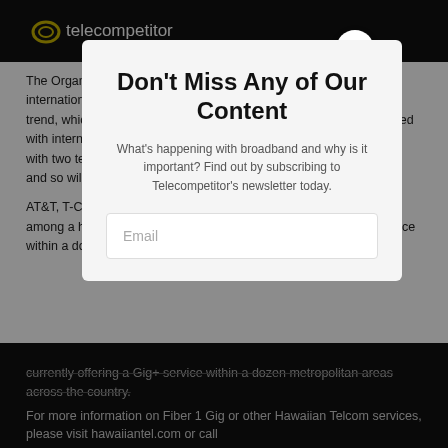telecompetitor
The Organization for Economic Cooperation and Development, an international think tank, predicts that as the Internet of Things (IoT) trend, which refers to the expansion of objects and devices embedded with internet connectivity, continues to grow, the average household with two teenagers will own 50 Internet-connected devices by 2022, and so will every.
AT&T, T-Cell, Comcast, Verizon Communications and Google are among a handful of national providers currently offering a Gig+ service within a dozen metropolitan areas across the country.
Don't Miss Any of Our Content
What's happening with broadband and why is it important? Find out by subscribing to Telecompetitor's newsletter today.
Email
For more information on Fiber 1 Gig or other Hawaiian Telcom services, please visit hawaiiantel.com or call